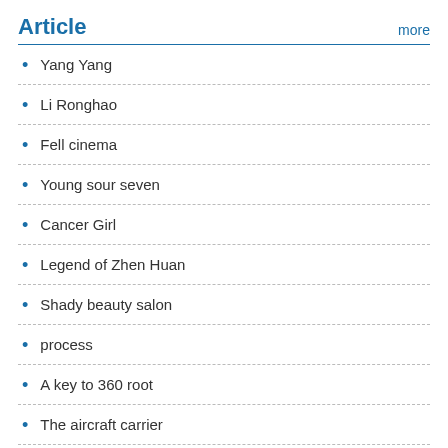Article
more
Yang Yang
Li Ronghao
Fell cinema
Young sour seven
Cancer Girl
Legend of Zhen Huan
Shady beauty salon
process
A key to 360 root
The aircraft carrier
Other
more